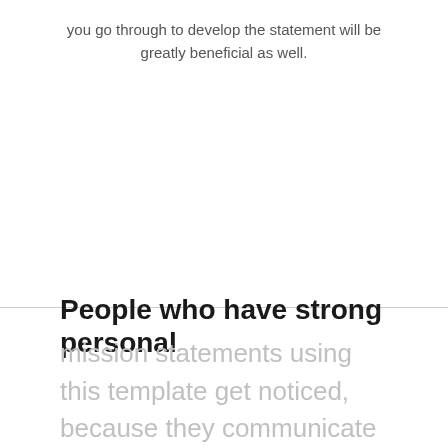you go through to develop the statement will be greatly beneficial as well.
People who have strong personal
mission statements using this template get noticed, because they communicate